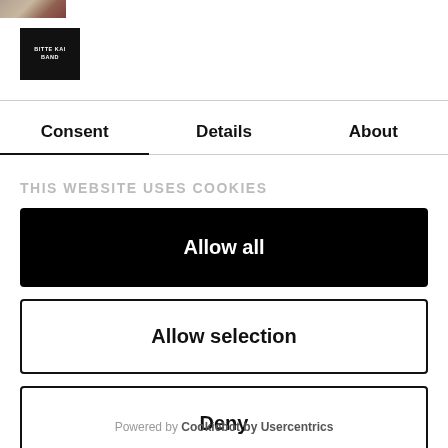[Figure (photo): Small thumbnail image strip at top left]
[Figure (logo): Black square logo with white text reading BITTE KAI BAND]
Consent	Details	About
THIS WEBSITE USES COOKIES
Allow all
Allow selection
Deny
Powered by Cookiebot by Usercentrics